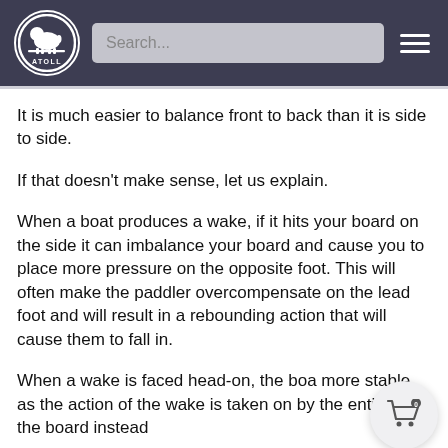ATOLL [logo] Search... [hamburger menu]
It is much easier to balance front to back than it is side to side.
If that doesn't make sense, let us explain.
When a boat produces a wake, if it hits your board on the side it can imbalance your board and cause you to place more pressure on the opposite foot. This will often make the paddler overcompensate on the lead foot and will result in a rebounding action that will cause them to fall in.
When a wake is faced head-on, the boa more stable as the action of the wake is taken on by the entirety of the board instead